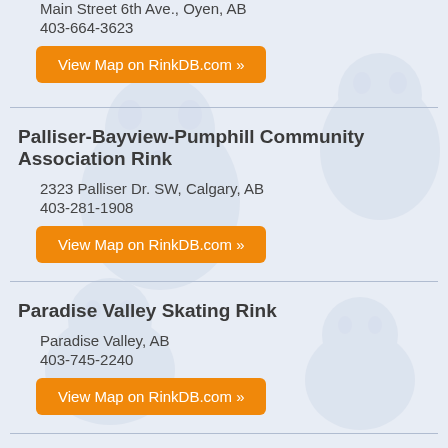Main Street 6th Ave., Oyen, AB
403-664-3623
View Map on RinkDB.com »
Palliser-Bayview-Pumphill Community Association Rink
2323 Palliser Dr. SW, Calgary, AB
403-281-1908
View Map on RinkDB.com »
Paradise Valley Skating Rink
Paradise Valley, AB
403-745-2240
View Map on RinkDB.com »
Parkdale Community Association Rink